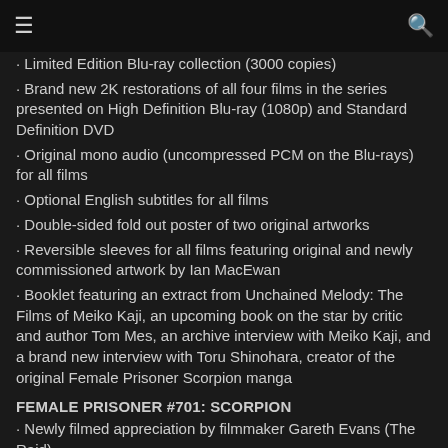☰  🔍
· Limited Edition Blu-ray collection (3000 copies)
· Brand new 2K restorations of all four films in the series presented on High Definition Blu-ray (1080p) and Standard Definition DVD
· Original mono audio (uncompressed PCM on the Blu-rays) for all films
· Optional English subtitles for all films
· Double-sided fold out poster of two original artworks
· Reversible sleeves for all films featuring original and newly commissioned artwork by Ian MacEwan
· Booklet featuring an extract from Unchained Melody: The Films of Meiko Kaji, an upcoming book on the star by critic and author Tom Mes, an archive interview with Meiko Kaji, and a brand new interview with Toru Shinohara, creator of the original Female Prisoner Scorpion manga
FEMALE PRISONER #701: SCORPION
· Newly filmed appreciation by filmmaker Gareth Evans (The Raid)
· Archive interview with director Shunya Ito
· New interview with assistant director Yutaka Kohira